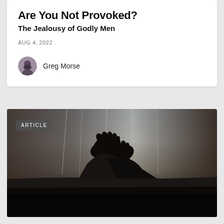Are You Not Provoked?
The Jealousy of Godly Men
AUG 4, 2022
Greg Morse
[Figure (photo): Dark silhouette photo of person's feet/legs resting on a bed with sheer curtains and window light in background, with an 'ARTICLE' badge overlay in the top-left corner]